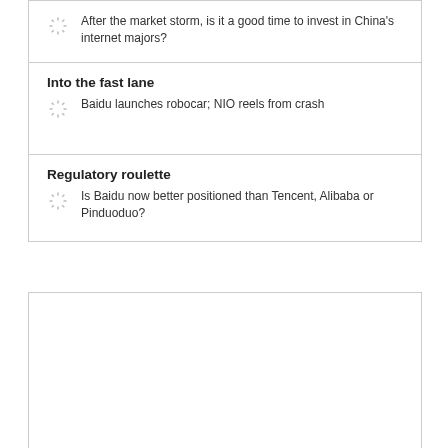Into the fast lane
Baidu launches robocar; NIO reels from crash
Regulatory roulette
Is Baidu now better positioned than Tencent, Alibaba or Pinduoduo?